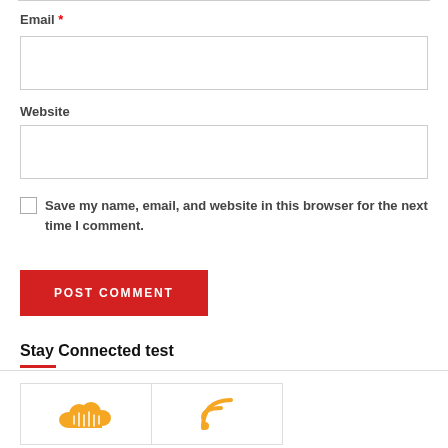Email *
Website
Save my name, email, and website in this browser for the next time I comment.
POST COMMENT
Stay Connected test
[Figure (screenshot): Two social media icon boxes side by side: SoundCloud icon (orange cloud) and RSS feed icon (orange wifi-like symbol)]